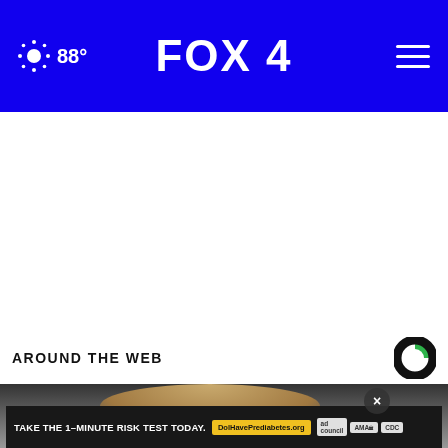88° FOX 4
[Figure (screenshot): White blank advertisement area]
AROUND THE WEB
[Figure (photo): Blonde woman photographed from above, partially visible. Over the image is an advertisement overlay: TAKE THE 1-MINUTE RISK TEST TODAY. DolHavePrediabetes.org with ad council, AMA, and CDC logos. A close X button is visible.]